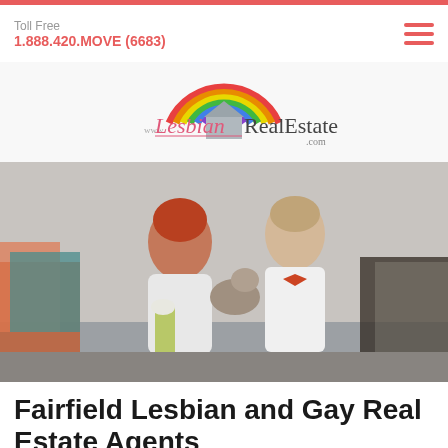Toll Free
1.888.420.MOVE (6683)
[Figure (logo): www.LesbianRealEstate.com logo with rainbow arc over house silhouette icon]
[Figure (photo): Two women sitting on a couch smiling, one with short red hair holding flowers, the other with short blonde hair wearing a bow tie, holding a small dog, surrounded by colorful pillows]
Fairfield Lesbian and Gay Real Estate Agents